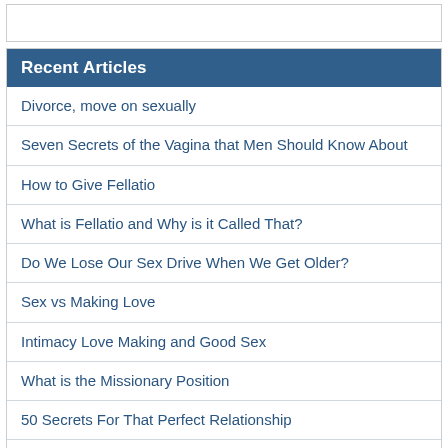Recent Articles
Divorce, move on sexually
Seven Secrets of the Vagina that Men Should Know About
How to Give Fellatio
What is Fellatio and Why is it Called That?
Do We Lose Our Sex Drive When We Get Older?
Sex vs Making Love
Intimacy Love Making and Good Sex
What is the Missionary Position
50 Secrets For That Perfect Relationship
How to Give Your Woman Multiple Orgasms
10 Perfect Ways to Bring Back the Magic in your Relationship